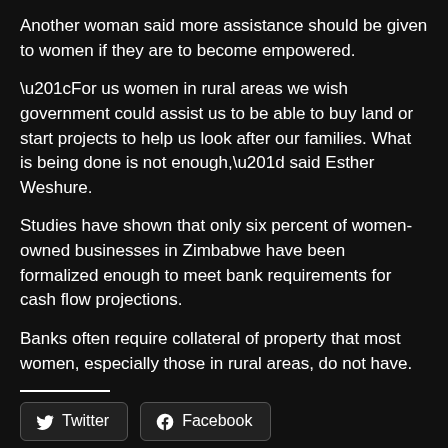Another woman said more assistance should be given to women if they are to become empowered.
“For us women in rural areas we wish government could assist us to be able to buy land or start projects to help us look after our families. What is being done is not enough,” said Esther Weshure.
Studies have shown that only six percent of women-owned businesses in Zimbabwe have been formalized enough to meet bank requirements for cash flow projections.
Banks often require collateral of property that most women, especially those in rural areas, do not have.
Twitter  Facebook